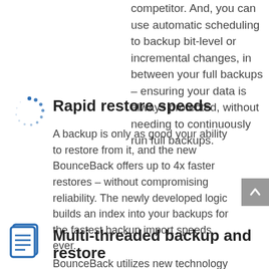competitor. And, you can use automatic scheduling to backup bit-level or incremental changes, in between your full backups – ensuring your data is always protected, without needing to continuously run full backups.
[Figure (illustration): Circular dotted loading/spinning icon in blue]
Rapid restore speeds
A backup is only as good your ability to restore from it, and the new BounceBack offers up to 4x faster restores – without compromising reliability. The newly developed logic builds an index into your backups for the fastest backup import speeds ever.
[Figure (illustration): Document/file icon with lines, in blue outline style]
Multi-threaded backup and restore
BounceBack utilizes new technology which uses